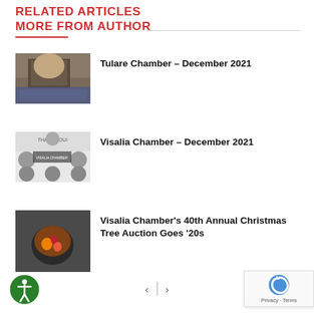RELATED ARTICLES MORE FROM AUTHOR
Tulare Chamber – December 2021
Visalia Chamber – December 2021
Visalia Chamber's 40th Annual Christmas Tree Auction Goes '20s